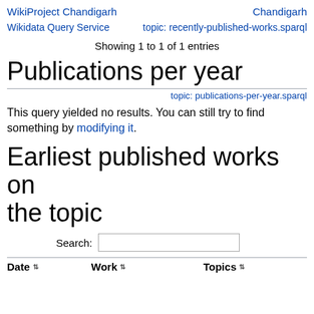WikiProject Chandigarh    Chandigarh
Wikidata Query Service    topic: recently-published-works.sparql
Showing 1 to 1 of 1 entries
Publications per year
topic: publications-per-year.sparql
This query yielded no results. You can still try to find something by modifying it.
Earliest published works on the topic
Search:
| Date | Work | Topics |
| --- | --- | --- |